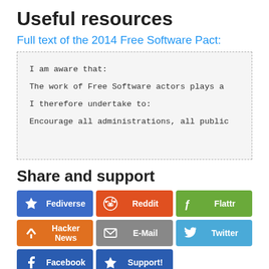Useful resources
Full text of the 2014 Free Software Pact:
I am aware that:

The work of Free Software actors plays a

I therefore undertake to:

Encourage all administrations, all public
Share and support
Fediverse | Reddit | Flattr | Hacker News | E-Mail | Twitter | Facebook | Support!